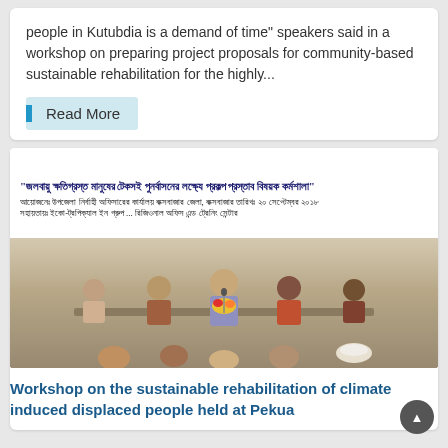people in Kutubdia is a demand of time" speakers said in a workshop on preparing project proposals for community-based sustainable rehabilitation for the highly...
Read More
[Figure (photo): A workshop scene with a banner in Bengali script at the top, and several people seated at a table in front of an audience. A man is speaking at a microphone in the center. A bouquet of flowers is visible on the table.]
Workshop on the sustainable rehabilitation of climate induced displaced people held at Pekua